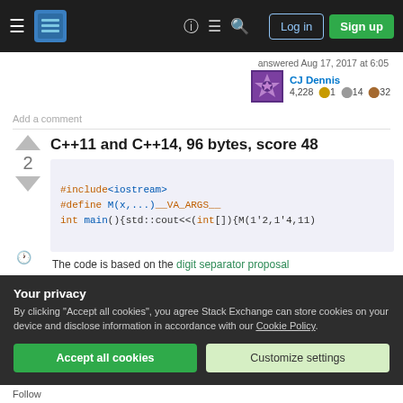Stack Exchange navigation bar with Log in and Sign up buttons
answered Aug 17, 2017 at 6:05
CJ Dennis 4,228 ● 1 ● 14 ● 32
Add a comment
C++11 and C++14, 96 bytes, score 48
#include<iostream>
#define M(x,...)__VA_ARGS__
int main(){std::cout<<(int[]){M(1'2,1'4,11)
The code is based on the digit separator proposal
Your privacy
By clicking "Accept all cookies", you agree Stack Exchange can store cookies on your device and disclose information in accordance with our Cookie Policy.
Accept all cookies   Customize settings
Follow